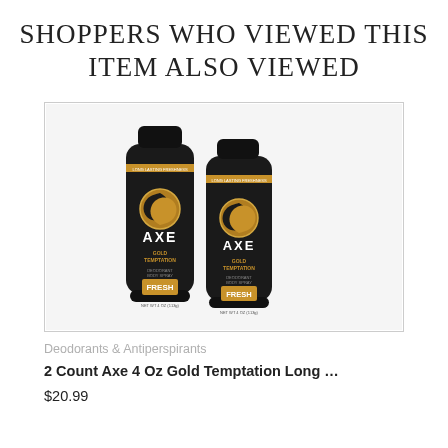SHOPPERS WHO VIEWED THIS ITEM ALSO VIEWED
[Figure (photo): Two black cans of Axe Gold Temptation deodorant body spray labeled FRESH, with gold AXE logo and gold accents, shown side by side on white background inside a bordered product image box.]
Deodorants & Antiperspirants
2 Count Axe 4 Oz Gold Temptation Long …
$20.99